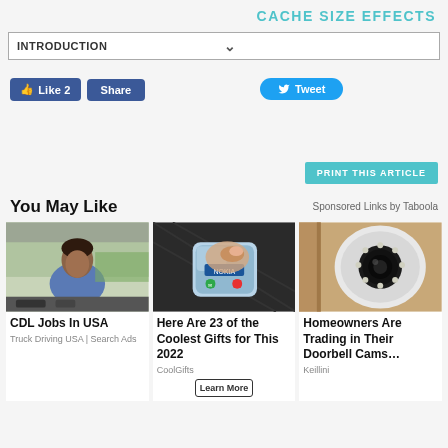CACHE SIZE EFFECTS
INTRODUCTION
Like 2  Share  Tweet
PRINT THIS ARTICLE
You May Like
Sponsored Links by Taboola
[Figure (photo): Woman in truck cab (CDL Jobs In USA)]
CDL Jobs In USA
Truck Driving USA | Search Ads
[Figure (photo): Nokia phone being held (Here Are 23 of the Coolest Gifts for This 2022)]
Here Are 23 of the Coolest Gifts for This 2022
CoolGifts
[Figure (photo): Security camera close-up (Homeowners Are Trading in Their Doorbell Cams...)]
Homeowners Are Trading in Their Doorbell Cams…
Keillini